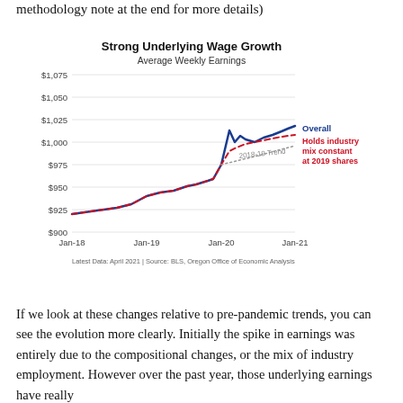methodology note at the end for more details)
[Figure (line-chart): Strong Underlying Wage Growth]
Latest Data: April 2021 | Source: BLS, Oregon Office of Economic Analysis
If we look at these changes relative to pre-pandemic trends, you can see the evolution more clearly. Initially the spike in earnings was entirely due to the compositional changes, or the mix of industry employment. However over the past year, those underlying earnings have really